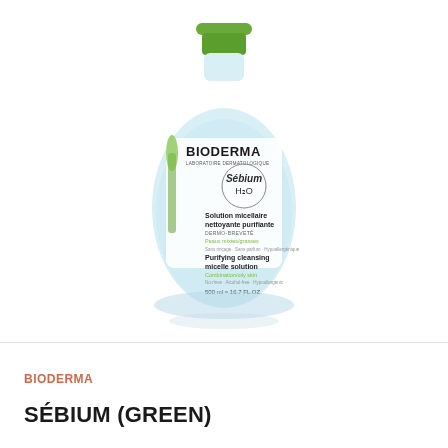[Figure (photo): Bioderma Sébium H2O purifying cleansing micellar solution bottle (500ml / 16.7 fl.oz.) with green cap and light blue liquid, white label showing BIODERMA logo, Sébium H2O circle, Solution micellaire nettoyante purifiante text, and Purifying cleansing micelle solution text]
BIODERMA
SÉBIUM (GREEN)